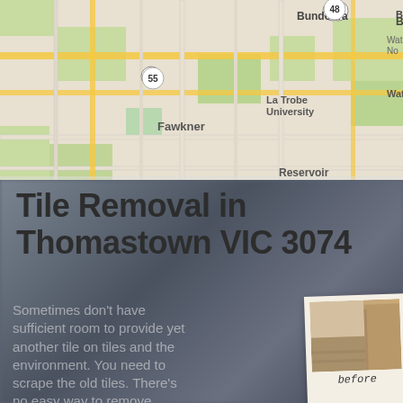[Figure (map): Google Maps view showing Thomastown VIC 3074 area with surrounding suburbs: Fawkner, Bundoora, La Trobe University, Reservoir, Watsonia. Road numbers 48, 55, 27 visible.]
Tile Removal in Thomastown VIC 3074
[Figure (photo): Two polaroid-style before and after photos of a room after tile removal. Left photo labeled 'before' shows room with tiles, right photo labeled 'after' shows room with tiles removed.]
Sometimes don't have sufficient room to provide yet another tile on tiles and the environment. You need to scrape the old tiles. There's no easy way to remove